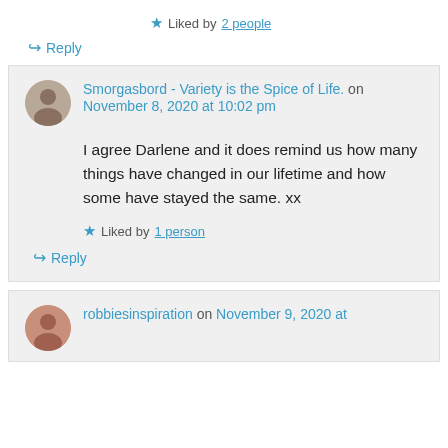★ Liked by 2 people
↪ Reply
Smorgasbord - Variety is the Spice of Life. on November 8, 2020 at 10:02 pm
I agree Darlene and it does remind us how many things have changed in our lifetime and how some have stayed the same. xx
★ Liked by 1 person
↪ Reply
robbiesinspiration on November 9, 2020 at